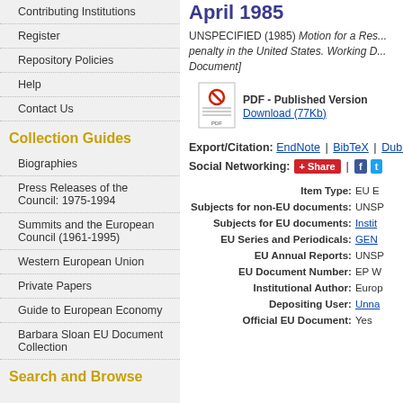Contributing Institutions
Register
Repository Policies
Help
Contact Us
Collection Guides
Biographies
Press Releases of the Council: 1975-1994
Summits and the European Council (1961-1995)
Western European Union
Private Papers
Guide to European Economy
Barbara Sloan EU Document Collection
Search and Browse
April 1985
UNSPECIFIED (1985) Motion for a Res... penalty in the United States. Working D... Document]
PDF - Published Version Download (77Kb)
Export/Citation: EndNote | BibTeX | Dubl...
Social Networking: Share
| Field | Value |
| --- | --- |
| Item Type: | EU E |
| Subjects for non-EU documents: | UNSP |
| Subjects for EU documents: | Instit... |
| EU Series and Periodicals: | GEN... |
| EU Annual Reports: | UNSP |
| EU Document Number: | EP W... |
| Institutional Author: | Europ... |
| Depositing User: | Unna... |
| Official EU Document: | Yes |